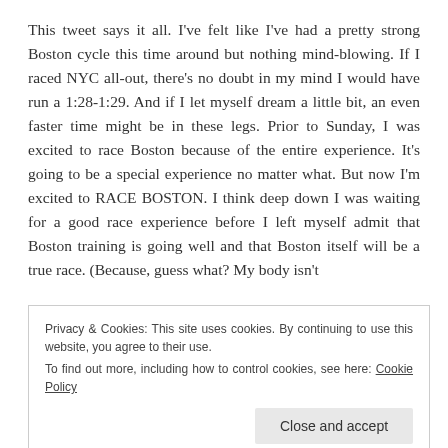This tweet says it all. I've felt like I've had a pretty strong Boston cycle this time around but nothing mind-blowing. If I raced NYC all-out, there's no doubt in my mind I would have run a 1:28-1:29. And if I let myself dream a little bit, an even faster time might be in these legs. Prior to Sunday, I was excited to race Boston because of the entire experience. It's going to be a special experience no matter what. But now I'm excited to RACE BOSTON. I think deep down I was waiting for a good race experience before I left myself admit that Boston training is going well and that Boston itself will be a true race. (Because, guess what? My body isn't
Privacy & Cookies: This site uses cookies. By continuing to use this website, you agree to their use.
To find out more, including how to control cookies, see here: Cookie Policy
We brunched...